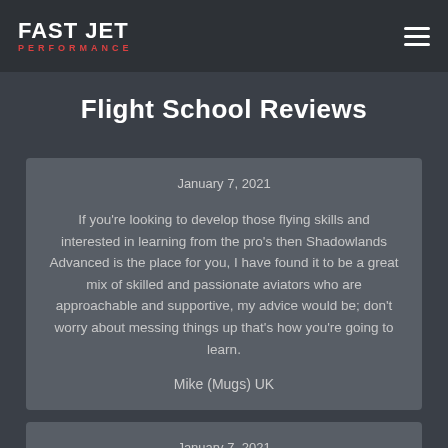FAST JET PERFORMANCE
Flight School Reviews
January 7, 2021

If you're looking to develop those flying skills and interested in learning from the pro's then Shadowlands Advanced is the place for you, I have found it to be a great mix of skilled and passionate aviators who are approachable and supportive, my advice would be; don't worry about messing things up that's how you're going to learn.

Mike (Mugs) UK
January 7, 2021